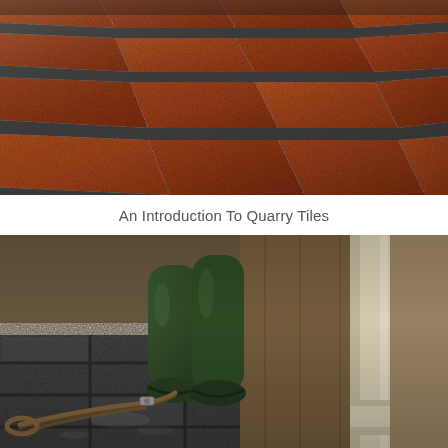[Figure (photo): Close-up overhead view of terracotta/red quarry floor tiles with dark grey grout lines, arranged in a grid pattern, shot from an angle]
An Introduction To Quarry Tiles
[Figure (photo): Interior entryway scene showing dark grey quarry floor tiles with a pair of green wellington boots and a brown leather dog leash on the floor, white skirting board and door frame visible]